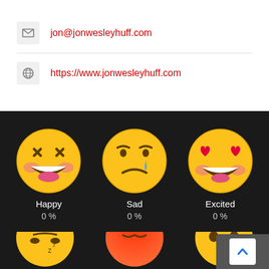jon@jonwesleyhuff.com
https://www.jonwesleyhuff.com
[Figure (illustration): Three emoji faces row 1: Happy (laughing face with closed eyes and big grin, pink cheeks), Sad (crying face with teardrop), Excited (face with heart eyes and big smile). Each labeled with name and '0 %' below.]
[Figure (illustration): Partial view of three more emoji faces in row 2 (bottom of page, cut off): a sleepy face, an angry/red face, and a surprised face.]